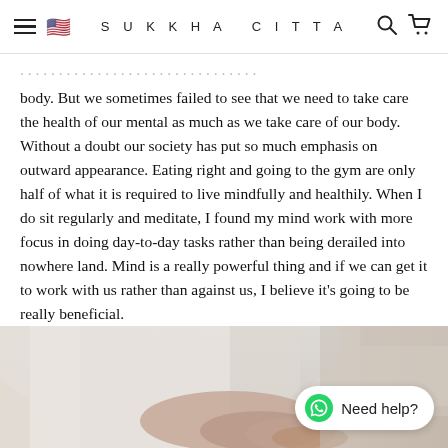SUKKHA CITTA
body. But we sometimes failed to see that we need to take care the health of our mental as much as we take care of our body. Without a doubt our society has put so much emphasis on outward appearance. Eating right and going to the gym are only half of what it is required to live mindfully and healthily. When I do sit regularly and meditate, I found my mind work with more focus in doing day-to-day tasks rather than being derailed into nowhere land. Mind is a really powerful thing and if we can get it to work with us rather than against us, I believe it's going to be really beneficial.
[Figure (photo): Person in white shirt doing a yoga or meditation pose, close-up shot of hands and torso, soft blurred background with warm tones]